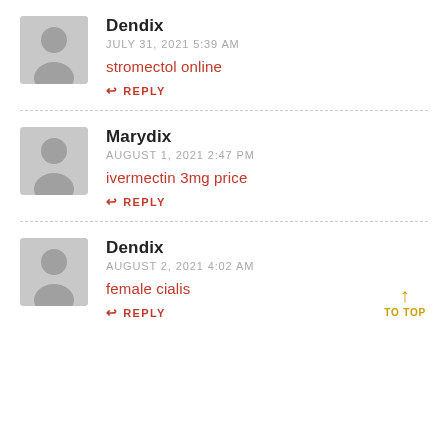Dendix
JULY 31, 2021 5:39 AM
stromectol online
↩ REPLY
Marydix
AUGUST 1, 2021 2:47 PM
ivermectin 3mg price
↩ REPLY
Dendix
AUGUST 2, 2021 4:02 AM
female cialis
↩ REPLY